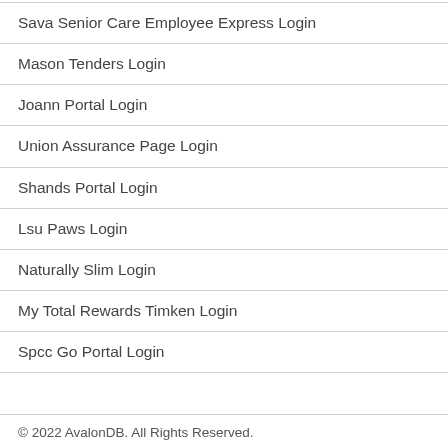Sava Senior Care Employee Express Login
Mason Tenders Login
Joann Portal Login
Union Assurance Page Login
Shands Portal Login
Lsu Paws Login
Naturally Slim Login
My Total Rewards Timken Login
Spcc Go Portal Login
© 2022 AvalonDB. All Rights Reserved.